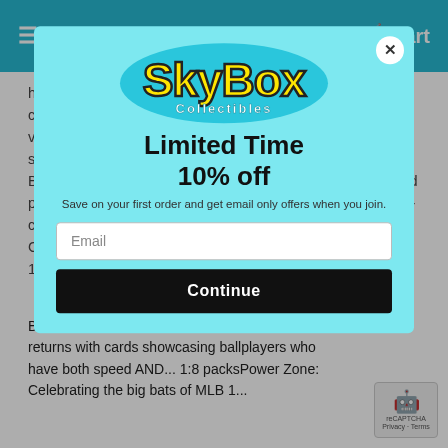Menu   Cart
high gloss, high action imagery, all-new on-card autograph cards, and exciting insert cards. Collectors will find a wide variety of subjects and subject matter, featuring rookies, stars and retired greats...photos from all facets of Baseball.PRODUCT DETAILS: 300 cards featuring full-bleed photography...game, from retired stars to the hottest up-and-comers Parallels: -Red Foil-Black Foil-Black and White-Gold COUNTY- Rainbow Foilboard #d to 25-First Day Issue #d to 10-Members Only-1 per case-Photo Variations 90 subjects - 1 Per 2 Boxes Chrome Chrome Parallels:...Auto Members Only-1 per case-SuperFractor-#d 1...HOBBY ONLY INSERTS: In the Wings: NEW!Inspired by the 1998 insert, this set features young players ready to become the next stars of MLB. 1 per boxFlash & Burn: NEW!A favorite from 1996 Stadium Club returns with cards showcasing ballplayers who have both speed AND... 1:8 packsPower Zone: Celebrating the big bats of MLB 1...
[Figure (logo): SkyBox Collectibles logo — yellow and black text on teal background]
Limited Time
10% off
Save on your first order and get email only offers when you join.
Email
Continue